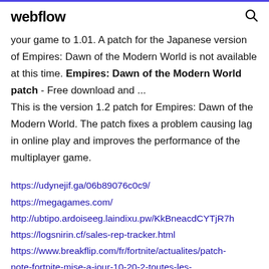webflow
your game to 1.01. A patch for the Japanese version of Empires: Dawn of the Modern World is not available at this time. Empires: Dawn of the Modern World patch - Free download and ... This is the version 1.2 patch for Empires: Dawn of the Modern World. The patch fixes a problem causing lag in online play and improves the performance of the multiplayer game.
https://udynejif.ga/06b89076c0c9/
https://megagames.com/
http://ubtipo.ardoiseeg.laindixu.pw/KkBneacdCYTjR7h
https://logsnirin.cf/sales-rep-tracker.html
https://www.breakflip.com/fr/fortnite/actualites/patch-note-fortnite-mise-a-jour-10-20-2-toutes-les-